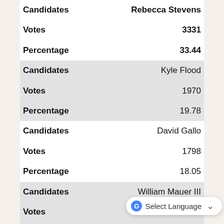| Candidates | Rebecca Stevens |
| --- | --- |
| Votes | 3331 |
| Percentage | 33.44 |
| Candidates | Kyle Flood |
| Votes | 1970 |
| Percentage | 19.78 |
| Candidates | David Gallo |
| Votes | 1798 |
| Percentage | 18.05 |
| Candidates | William Mauer III |
| Votes | 1490 |
| Percentage | 14.96 |
| Candidates | Samuel Peter Martin |
| Votes | ... |